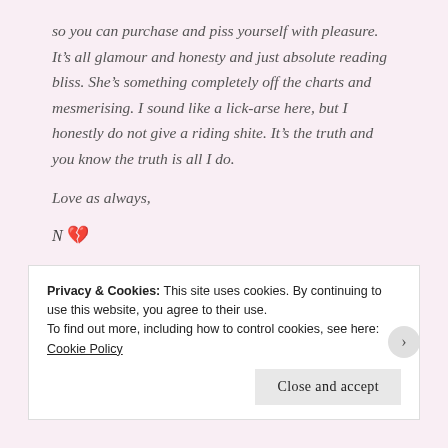so you can purchase and piss yourself with pleasure. It’s all glamour and honesty and just absolute reading bliss. She’s something completely off the charts and mesmerising. I sound like a lick-arse here, but I honestly do not give a riding shite. It’s the truth and you know the truth is all I do.
Love as always,
N 💔
P.S... Mile High is currently on offer for 99p on amazon. BARGAIN! So there’s no excuse really not to grab a copy. Goes
Privacy & Cookies: This site uses cookies. By continuing to use this website, you agree to their use.
To find out more, including how to control cookies, see here: Cookie Policy
Close and accept